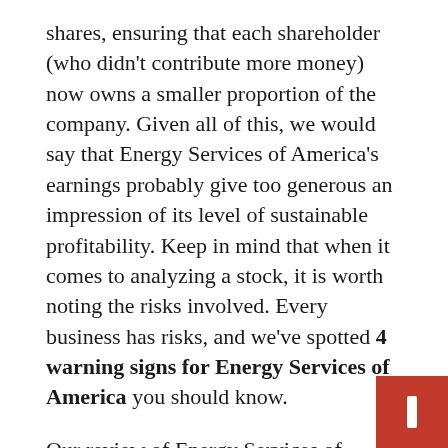shares, ensuring that each shareholder (who didn't contribute more money) now owns a smaller proportion of the company. Given all of this, we would say that Energy Services of America's earnings probably give too generous an impression of its level of sustainable profitability. Keep in mind that when it comes to analyzing a stock, it is worth noting the risks involved. Every business has risks, and we've spotted 4 warning signs for Energy Services of America you should know.
Our review of Energy Services of America focused on some factors that can make its earnings look better than they are. And, based on that, we're somewhat skeptical. But there's always more to discover if you're able to focus on the details. Some people consider a high return on equity to be a good